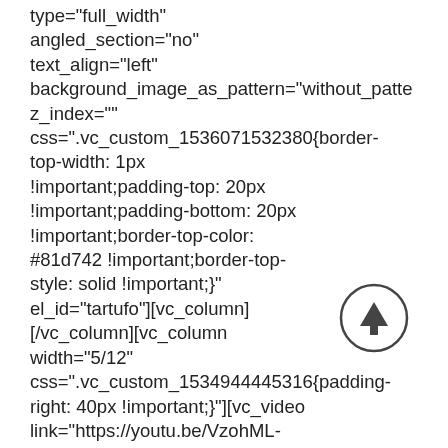type="full_width" angled_section="no" text_align="left" background_image_as_pattern="without_pattern" z_index="" css=".vc_custom_1536071532380{border-top-width: 1px !important;padding-top: 20px !important;padding-bottom: 20px !important;border-top-color: #81d742 !important;border-top-style: solid !important;}" el_id="tartufo"][vc_column][/vc_column][vc_column width="5/12" css=".vc_custom_1534944445316{padding-right: 40px !important;}"][vc_video link="https://youtu.be/VzohML-
[Figure (other): Circular scroll-to-top button with an upward arrow icon]